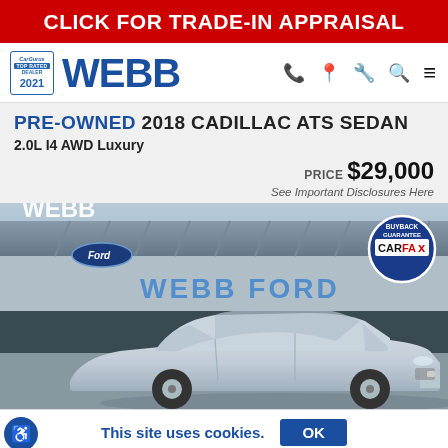CLICK FOR TRADE-IN APPRAISAL
[Figure (logo): Webb Ford dealership logo with CarGurus Top Rated Dealer 2021 badge and navigation icons]
PRE-OWNED 2018 CADILLAC ATS SEDAN
2.0L I4 AWD Luxury
PRICE $29,000
See Important Disclosures Here
[Figure (photo): Silver 2018 Cadillac ATS Sedan parked in front of Webb Ford dealership building with CARFAX Buyback Guarantee badge]
This site uses cookies.
OK